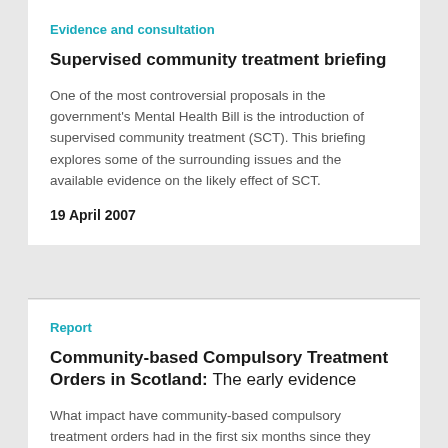Evidence and consultation
Supervised community treatment briefing
One of the most controversial proposals in the government's Mental Health Bill is the introduction of supervised community treatment (SCT). This briefing explores some of the surrounding issues and the available evidence on the likely effect of SCT.
19 April 2007
Report
Community-based Compulsory Treatment Orders in Scotland: The early evidence
What impact have community-based compulsory treatment orders had in the first six months since they were introduced in Scotland, and what lessons can